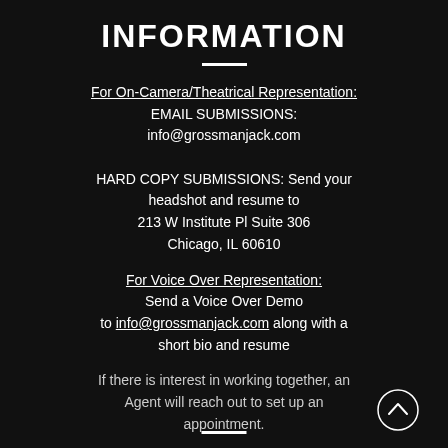INFORMATION
For On-Camera/Theatrical Representation:
EMAIL SUBMISSIONS:
info@grossmanjack.com

HARD COPY SUBMISSIONS: Send your headshot and resume to
213 W Institute Pl Suite 306
Chicago, IL 60610
For Voice Over Representation:
Send a Voice Over Demo
to info@grossmanjack.com along with a short bio and resume
If there is interest in working together, an Agent will reach out to set up an appointment.